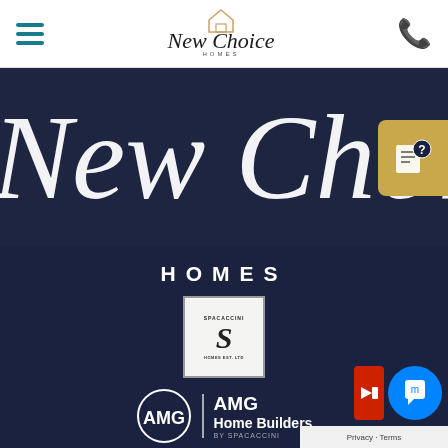[Figure (logo): New Choice Homes website header with hamburger menu, New Choice Homes logo in cursive script with house icon, and teal phone icon]
[Figure (illustration): Dark navy hero section with large white cursive script reading New Choice with a gold help/chat button overlay on the right]
HOMES
[Figure (logo): Spacaccini Homes Est. Ltd square logo with stylized S in a bordered box]
[Figure (logo): AMG Home Builders by Spacaccini logo with circle monogram and text]
© 2022 New Choice Homes. Builders Reg. No. BC13070
Privacy Policy  |  Terms & Conditions